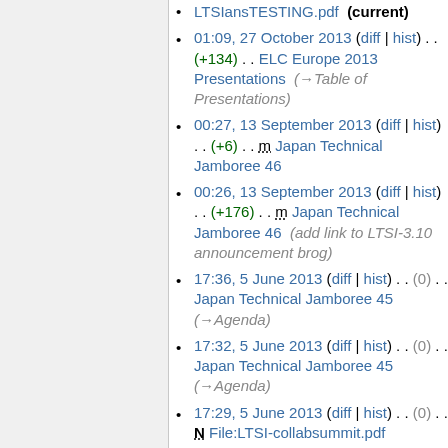LTSIansTESTING.pdf (current)
01:09, 27 October 2013 (diff | hist) . . (+134) . . ELC Europe 2013 Presentations (→Table of Presentations)
00:27, 13 September 2013 (diff | hist) . . (+6) . . m Japan Technical Jamboree 46
00:26, 13 September 2013 (diff | hist) . . (+176) . . m Japan Technical Jamboree 46 (add link to LTSI-3.10 announcement brog)
17:36, 5 June 2013 (diff | hist) . . (0) . . Japan Technical Jamboree 45 (→Agenda)
17:32, 5 June 2013 (diff | hist) . . (0) . . Japan Technical Jamboree 45 (→Agenda)
17:29, 5 June 2013 (diff | hist) . . (0) . . N File:LTSI-collabsummit.pdf